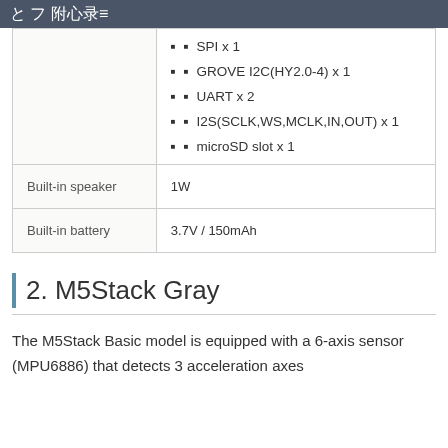と フ 附心录
|  | SPI x 1
GROVE I2C(HY2.0-4) x 1
UART x 2
I2S(SCLK,WS,MCLK,IN,OUT) x 1
microSD slot x 1 |
| Built-in speaker | 1W |
| Built-in battery | 3.7V / 150mAh |
2. M5Stack Gray
The M5Stack Basic model is equipped with a 6-axis sensor (MPU6886) that detects 3 acceleration axes